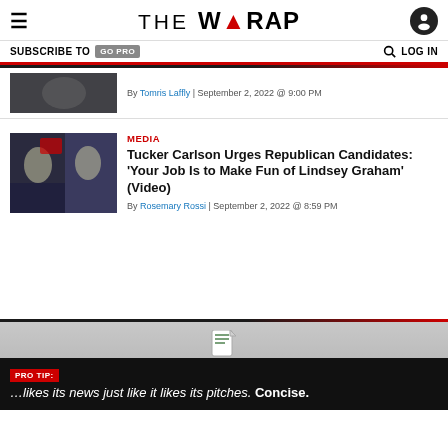THE WRAP
SUBSCRIBE TO GO PRO   LOG IN
By Tomris Laffly | September 2, 2022 @ 9:00 PM
MEDIA
Tucker Carlson Urges Republican Candidates: 'Your Job Is to Make Fun of Lindsey Graham' (Video)
By Rosemary Rossi | September 2, 2022 @ 8:59 PM
PRO TIP: …likes its news just like it likes its pitches. Concise.